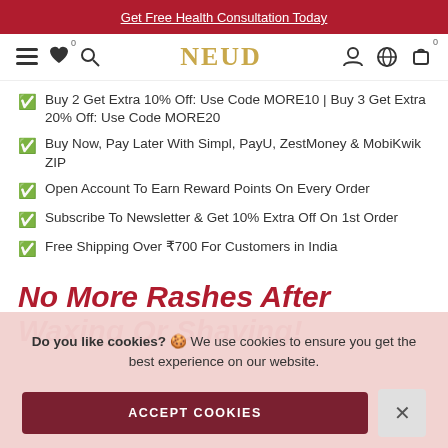Get Free Health Consultation Today
[Figure (logo): NEUD brand logo with navigation icons including hamburger menu, heart, search, user, globe, and cart]
Buy 2 Get Extra 10% Off: Use Code MORE10 | Buy 3 Get Extra 20% Off: Use Code MORE20
Buy Now, Pay Later With Simpl, PayU, ZestMoney & MobiKwik ZIP
Open Account To Earn Reward Points On Every Order
Subscribe To Newsletter & Get 10% Extra Off On 1st Order
Free Shipping Over ₹700 For Customers in India
No More Rashes After Waxing Or Shaving!
Do you like cookies? 🍪 We use cookies to ensure you get the best experience on our website.
ACCEPT COOKIES